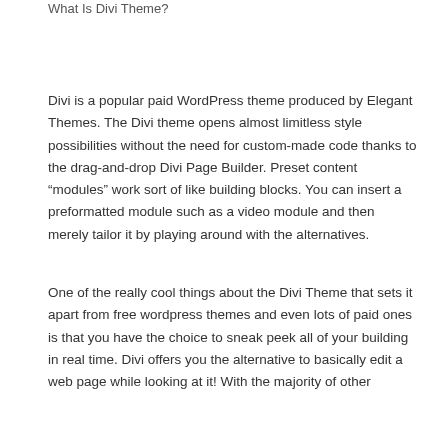What Is Divi Theme?
Divi is a popular paid WordPress theme produced by Elegant Themes. The Divi theme opens almost limitless style possibilities without the need for custom-made code thanks to the drag-and-drop Divi Page Builder. Preset content “modules” work sort of like building blocks. You can insert a preformatted module such as a video module and then merely tailor it by playing around with the alternatives.
One of the really cool things about the Divi Theme that sets it apart from free wordpress themes and even lots of paid ones is that you have the choice to sneak peek all of your building in real time. Divi offers you the alternative to basically edit a web page while looking at it! With the majority of other